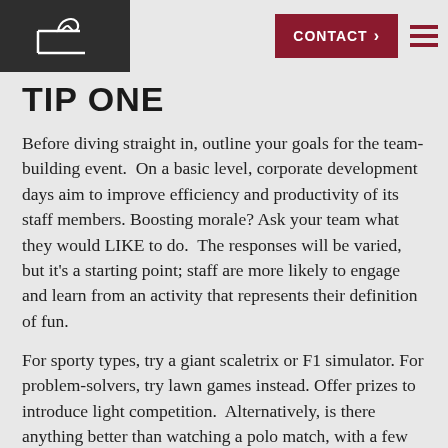CONTACT >  [hamburger menu]
TIP ONE
Before diving straight in, outline your goals for the team-building event.  On a basic level, corporate development days aim to improve efficiency and productivity of its staff members. Boosting morale? Ask your team what they would LIKE to do.  The responses will be varied, but it’s a starting point; staff are more likely to engage and learn from an activity that represents their definition of fun.
For sporty types, try a giant scaletrix or F1 simulator. For problem-solvers, try lawn games instead. Offer prizes to introduce light competition.  Alternatively, is there anything better than watching a polo match, with a few drinks to keep cool during the gorgeous summer day, followed by a delicious lunch at the Club’s restaurant, The Millstone Hare?